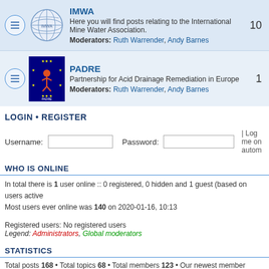[Figure (screenshot): Forum listing showing IMWA and PADRE entries with icons, moderators, and post counts]
LOGIN • REGISTER
Username: [input] Password: [input] | Log me on autom
WHO IS ONLINE
In total there is 1 user online :: 0 registered, 0 hidden and 1 guest (based on users active
Most users ever online was 140 on 2020-01-16, 10:13
Registered users: No registered users
Legend: Administrators, Global moderators
STATISTICS
Total posts 168 • Total topics 68 • Total members 123 • Our newest member heallan
Board index  The team •
Powered by phpBB® Forum Software © phpBB Gr